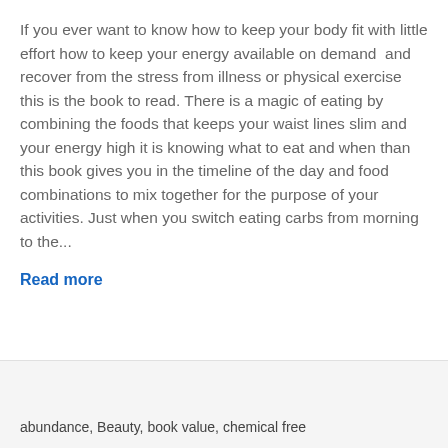If you ever want to know how to keep your body fit with little effort how to keep your energy available on demand  and recover from the stress from illness or physical exercise this is the book to read. There is a magic of eating by combining the foods that keeps your waist lines slim and your energy high it is knowing what to eat and when than this book gives you in the timeline of the day and food combinations to mix together for the purpose of your activities. Just when you switch eating carbs from morning to the...
Read more
abundance, Beauty, book value, chemical free